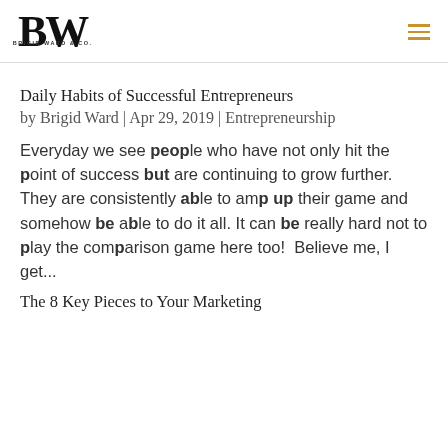[Figure (logo): Brigid Ward & Co. logo with large BW letters and small text beneath]
Daily Habits of Successful Entrepreneurs
by Brigid Ward | Apr 29, 2019 | Entrepreneurship
Everyday we see people who have not only hit the point of success but are continuing to grow further.  They are consistently able to amp up their game and somehow be able to do it all. It can be really hard not to play the comparison game here too!  Believe me, I get...
The 8 Key Pieces to Your Marketing